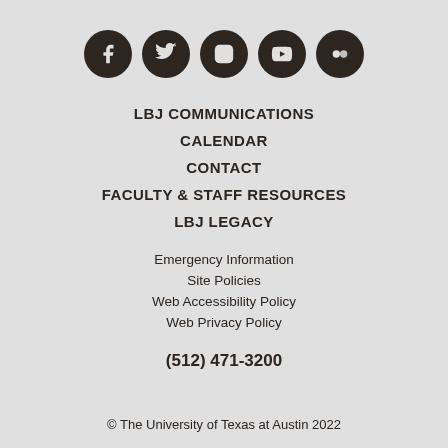[Figure (illustration): Five social media icons in dark circles: Facebook, Twitter, Instagram, YouTube, Flickr]
LBJ COMMUNICATIONS
CALENDAR
CONTACT
FACULTY & STAFF RESOURCES
LBJ LEGACY
Emergency Information
Site Policies
Web Accessibility Policy
Web Privacy Policy
(512) 471-3200
© The University of Texas at Austin 2022